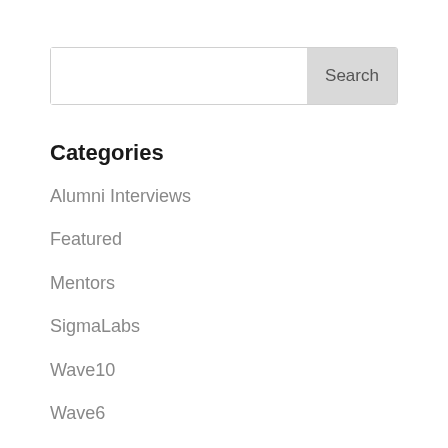[Figure (screenshot): Search bar with a text input field on the left and a grey 'Search' button on the right]
Categories
Alumni Interviews
Featured
Mentors
SigmaLabs
Wave10
Wave6
Wave7
Wave8
Wave9